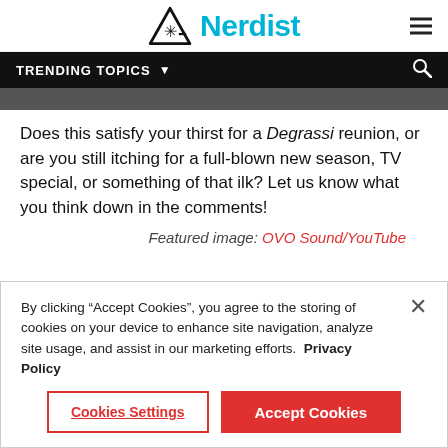Nerdist
TRENDING TOPICS
Does this satisfy your thirst for a Degrassi reunion, or are you still itching for a full-blown new season, TV special, or something of that ilk? Let us know what you think down in the comments!
Featured image: OVO Sound/YouTube
By clicking “Accept Cookies”, you agree to the storing of cookies on your device to enhance site navigation, analyze site usage, and assist in our marketing efforts. Privacy Policy
Cookies Settings | Accept Cookies